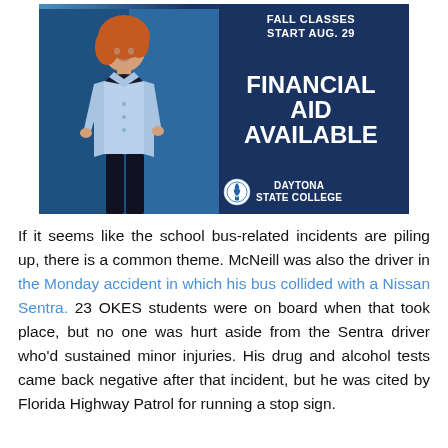[Figure (advertisement): Daytona State College advertisement showing a young woman with red hair wearing a denim jacket, against a dark blue background. Text reads: FALL CLASSES START AUG. 29 / FINANCIAL AID AVAILABLE / DAYTONA STATE COLLEGE with college logo.]
If it seems like the school bus-related incidents are piling up, there is a common theme. McNeill was also the driver in the Monday accident in which his bus collided with a Nissan Sentra. 23 OKES students were on board when that took place, but no one was hurt aside from the Sentra driver who'd sustained minor injuries. His drug and alcohol tests came back negative after that incident, but he was cited by Florida Highway Patrol for running a stop sign.